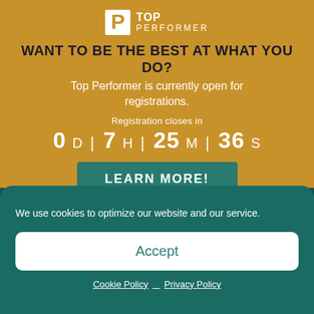[Figure (logo): Top Performer logo with white P icon and text TOP PERFORMER]
WANT TO BE THE BEST AT WHAT YOU DO?
Top Performer is currently open for registrations.
Registration closes in
0 D | 7 H | 25 M | 36 S
LEARN MORE!
We use cookies to optimize our website and our service.
Accept
Cookie Policy   Privacy Policy